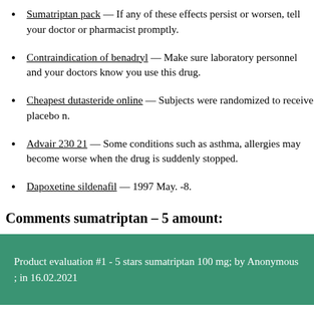Sumatriptan pack — If any of these effects persist or worsen, tell your doctor or pharmacist promptly.
Contraindication of benadryl — Make sure laboratory personnel and your doctors know you use this drug.
Cheapest dutasteride online — Subjects were randomized to receive placebo n.
Advair 230 21 — Some conditions such as asthma, allergies may become worse when the drug is suddenly stopped.
Dapoxetine sildenafil — 1997 May. -8.
Comments sumatriptan – 5 amount:
Product evaluation #1 - 5 stars sumatriptan 100 mg; by Anonymous ; in 16.02.2021
This medicine is available only with your doctor's prescription. Napr